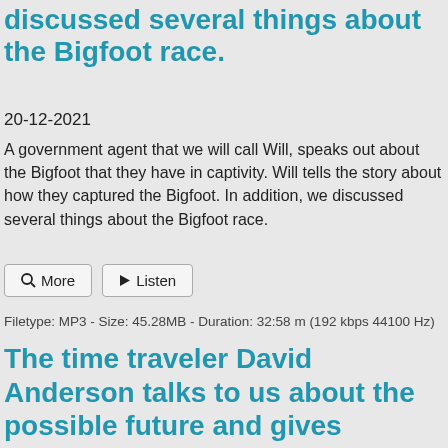discussed several things about the Bigfoot race.
20-12-2021
A government agent that we will call Will, speaks out about the Bigfoot that they have in captivity. Will tells the story about how they captured the Bigfoot. In addition, we discussed several things about the Bigfoot race.
[Figure (other): Two buttons: a magnifying glass icon with 'More' and a play icon with 'Listen']
Filetype: MP3 - Size: 45.28MB - Duration: 32:58 m (192 kbps 44100 Hz)
The time traveler David Anderson talks to us about the possible future and gives several big warnings. He says the new world order is coming!